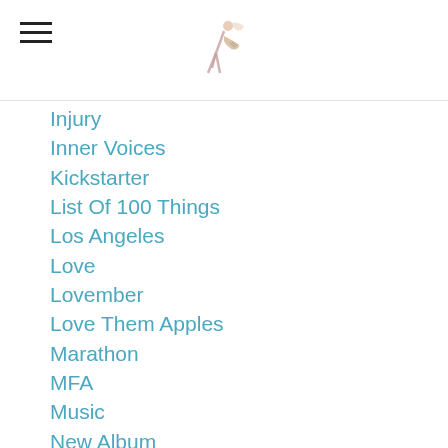[Logo: musician figure]
Injury
Inner Voices
Kickstarter
List Of 100 Things
Los Angeles
Love
Lovember
Love Them Apples
Marathon
MFA
Music
New Album
Recording
Rejection
Running
Shed
Sick
Social Activism